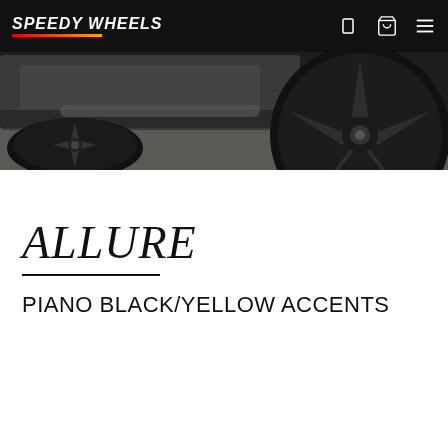SPEEDY WHEELS
[Figure (photo): Close-up photo of a dark/black alloy wheel on a vehicle, shot from low angle showing the wheel, tire, and underside of the car body against a light grey floor background.]
ALLURE
PIANO BLACK/YELLOW ACCENTS